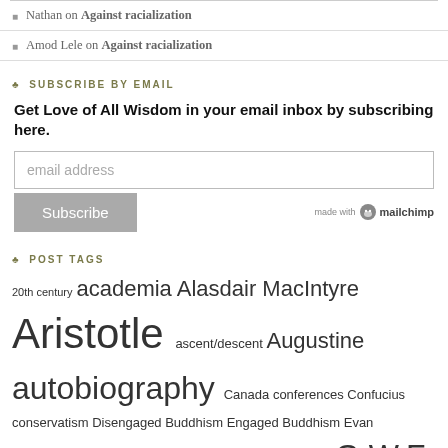Nathan on Against racialization
Amod Lele on Against racialization
SUBSCRIBE BY EMAIL
Get Love of All Wisdom in your email inbox by subscribing here.
POST TAGS
20th century academia Alasdair MacIntyre Aristotle ascent/descent Augustine autobiography Canada conferences Confucius conservatism Disengaged Buddhism Engaged Buddhism Evan Thompson Four Noble Truths Friedrich Nietzsche G.W.F. Hegel gender Hebrew Bible identity Immanuel Kant